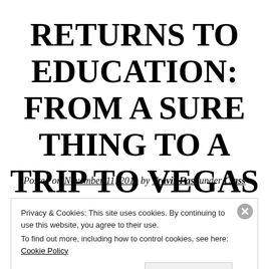RETURNS TO EDUCATION: FROM A SURE THING TO A TRIP TO VEGAS
Posted on November 11, 2011 by Travis Fast under Class
Privacy & Cookies: This site uses cookies. By continuing to use this website, you agree to their use.
To find out more, including how to control cookies, see here: Cookie Policy
Close and accept